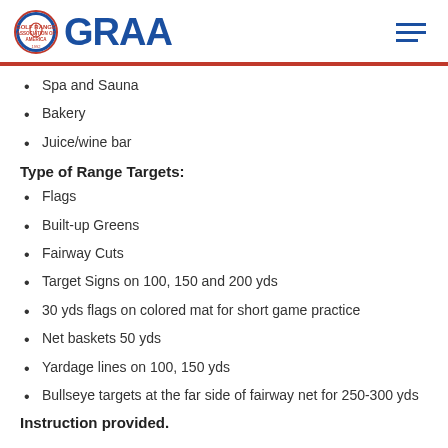GRAA
Spa and Sauna
Bakery
Juice/wine bar
Type of Range Targets:
Flags
Built-up Greens
Fairway Cuts
Target Signs on 100, 150 and 200 yds
30 yds flags on colored mat for short game practice
Net baskets 50 yds
Yardage lines on 100, 150 yds
Bullseye targets at the far side of fairway net for 250-300 yds
Instruction provided.